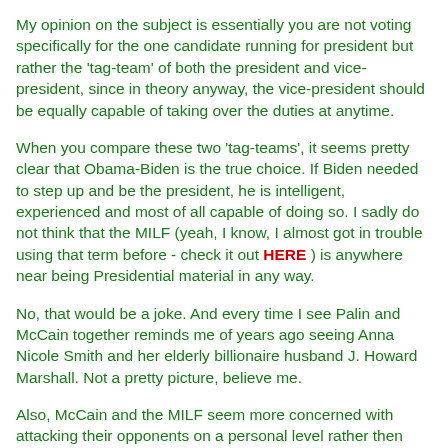My opinion on the subject is essentially you are not voting specifically for the one candidate running for president but rather the 'tag-team' of both the president and vice-president, since in theory anyway, the vice-president should be equally capable of taking over the duties at anytime.
When you compare these two 'tag-teams', it seems pretty clear that Obama-Biden is the true choice. If Biden needed to step up and be the president, he is intelligent, experienced and most of all capable of doing so. I sadly do not think that the MILF (yeah, I know, I almost got in trouble using that term before - check it out HERE ) is anywhere near being Presidential material in any way.
No, that would be a joke. And every time I see Palin and McCain together reminds me of years ago seeing Anna Nicole Smith and her elderly billionaire husband J. Howard Marshall. Not a pretty picture, believe me.
Also, McCain and the MILF seem more concerned with attacking their opponents on a personal level rather then